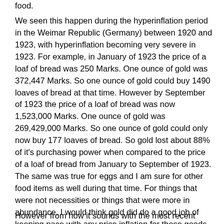food.
We seen this happen during the hyperinflation period in the Weimar Republic (Germany) between 1920 and 1923, with hyperinflation becoming very severe in 1923. For example, in January of 1923 the price of a loaf of bread was 250 Marks. One ounce of gold was 372,447 Marks. So one ounce of gold could buy 1490 loaves of bread at that time. However by September of 1923 the price of a loaf of bread was now 1,523,000 Marks. One ounce of gold was 269,429,000 Marks. So one ounce of gold could only now buy 177 loaves of bread. So gold lost about 88% of it's purchasing power when compared to the price of a loaf of bread from January to September of 1923. The same was true for eggs and I am sure for other food items as well during that time. For things that were not necessities or things that were more in abundance, I would think gold did do a good job of keeping pace with any price inflation for those goods or services.
However from how it sounds with the most recent